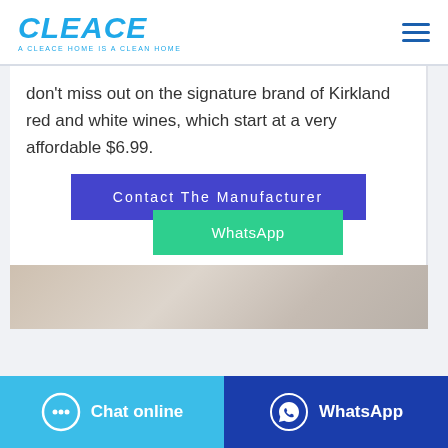CLEACE — A CLEACE HOME IS A CLEAN HOME
don't miss out on the signature brand of Kirkland red and white wines, which start at a very affordable $6.99.
Contact The Manufacturer
WhatsApp
[Figure (photo): Partial photo of round beige/cream objects on a light background]
Chat online | WhatsApp